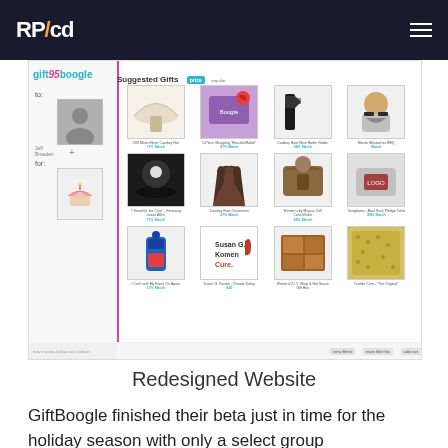RP/cd
[Figure (screenshot): GiftBoogle website screenshot showing gift recommendation interface with product grid including cowboy hat, gift card, wine bottle holder, mustaches, concert-related items, cowboy boots, purse, t-shirt, charity items, and other gifts. Left sidebar shows 'to: Jeff Braaden' with a person photo and a 'for' section with cupcake icon.]
Redesigned Website
GiftBoogle finished their beta just in time for the holiday season with only a select group